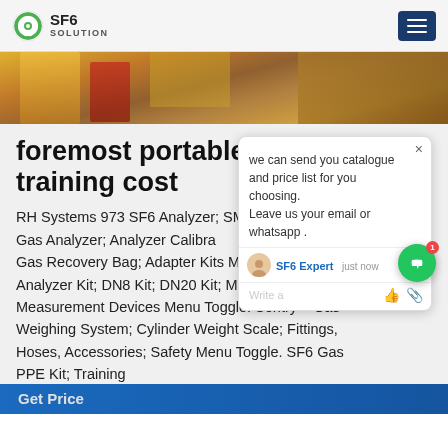SF6 SOLUTION
[Figure (photo): Hero banner image showing industrial equipment - yellow machinery, red metal stands on a warehouse floor]
foremost portable sf6 training cost
RH Systems 973 SF6 Analyzer; SMC SF6 Gas Analyzer; Analyzer Calibration Gas; Gas Recovery Bag; Adapter Kits Menu Toggle. Analyzer Kit; DN8 Kit; DN20 Kit; Mass Measurement Devices Menu Toggle. Sentry – Gas Weighing System; Cylinder Weight Scale; Fittings, Hoses, Accessories; Safety Menu Toggle. SF6 Gas PPE Kit; Training
Get Price
[Figure (screenshot): Chat popup overlay with message: we can send you catalogue and price list for you choosing. Leave us your email or whatsapp. SF6 Expert - just now. Write a message input field.]